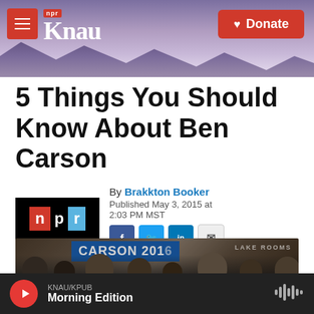KNAU NPR / Donate
5 Things You Should Know About Ben Carson
By Brakkton Booker
Published May 3, 2015 at 2:03 PM MST
[Figure (photo): Crowd of people with a Carson 2016 campaign banner]
KNAU/KPUB Morning Edition